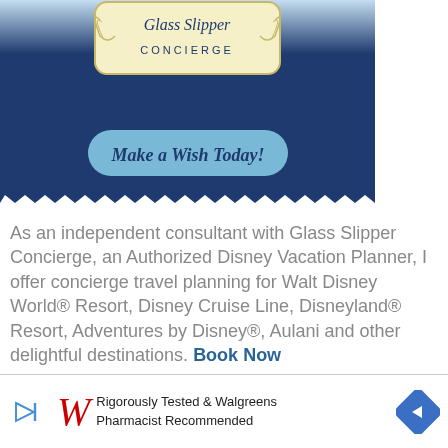[Figure (illustration): Glass Slipper Concierge advertisement image with dark blue background, ornate cream-colored badge/emblem with text 'CONCIERGE', and a light blue rounded button with italic bold text 'Make a Wish Today!']
As an independent consultant with Glass Slipper Concierge, an Authorized Disney Vacation Planner, I offer concierge travel planning for Walt Disney World® Resort, Disney Cruise Line, Disneyland® Resort, Adventures by Disney®, Aulani and other delightful destinations. Book Now
Past Posts
[Figure (illustration): Walgreens advertisement banner: play button icon on left, Walgreens cursive W logo in red, text 'Rigorously Tested & Walgreens Pharmacist Recommended', blue diamond arrow icon on right]